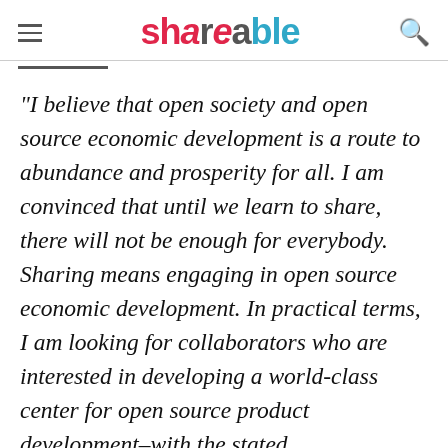SHAREABLE
"I believe that open society and open source economic development is a route to abundance and prosperity for all. I am convinced that until we learn to share, there will not be enough for everybody. Sharing means engaging in open source economic development. In practical terms, I am looking for collaborators who are interested in developing a world-class center for open source product development–with the stated